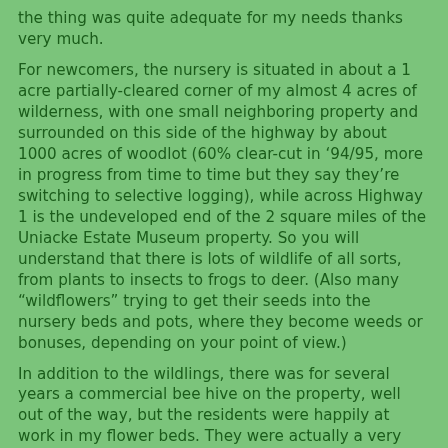the thing was quite adequate for my needs thanks very much.
For newcomers, the nursery is situated in about a 1 acre partially-cleared corner of my almost 4 acres of wilderness, with one small neighboring property and surrounded on this side of the highway by about 1000 acres of woodlot (60% clear-cut in ’94/95, more in progress from time to time but they say they’re switching to selective logging), while across Highway 1 is the undeveloped end of the 2 square miles of the Uniacke Estate Museum property. So you will understand that there is lots of wildlife of all sorts, from plants to insects to frogs to deer. (Also many “wildflowers” trying to get their seeds into the nursery beds and pots, where they become weeds or bonuses, depending on your point of view.)
In addition to the wildlings, there was for several years a commercial bee hive on the property, well out of the way, but the residents were happily at work in my flower beds. They were actually a very docile hive even when being handled by their keeper, and have given no problem. The hives were in decline for awhile, which we believed was because of increased pesticide use as "lawn care" companies with a penchant for indiscriminate spraying attempting to move their commercial base out of reach of the HRM anti-pesticide bylaws by pursuing new business in other municipalities. Then following a year of improvement the remaining hive was killed by the winter of 03/04 (as were many